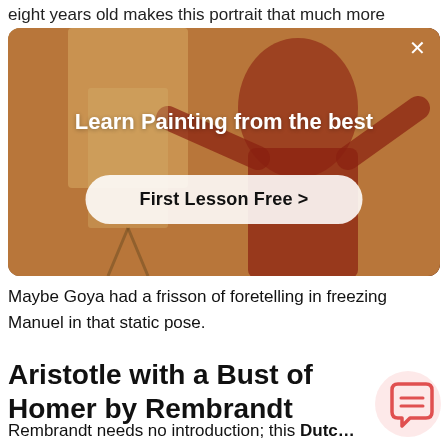eight years old makes this portrait that much more
[Figure (photo): Advertisement banner with a person in a red shirt painting, overlaid with text 'Learn Painting from the best' and a 'First Lesson Free >' button on a warm brownish-red background.]
Maybe Goya had a frisson of foretelling in freezing Manuel in that static pose.
Aristotle with a Bust of Homer by Rembrandt
Rembrandt needs no introduction; this Dutch Baroque master is one of the most famous painters